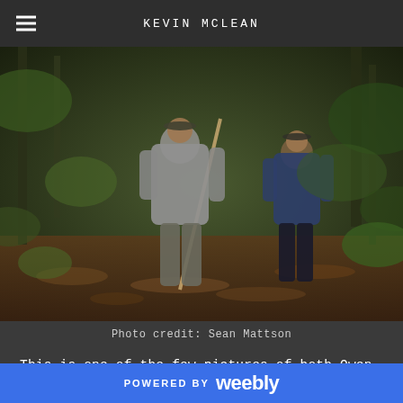KEVIN MCLEAN
[Figure (photo): Two people walking through a dense jungle/forest, one in the foreground wearing a grey long-sleeve shirt and holding a rope or stick, another person visible in the background wearing a dark blue shirt. Lush green vegetation surrounds them.]
Photo credit: Sean Mattson
This is one of the few pictures of both Owen and me in the forest. I really like this photo because it is representative of how things actually were day-to-day. Reading through the past few posts I casually switched back and forth between “I” and “we” without much pattern, but I want to make it clear that NONE of what was accomplished in the past three months could have happened without Owen. Finding people to help out in the field
POWERED BY weebly